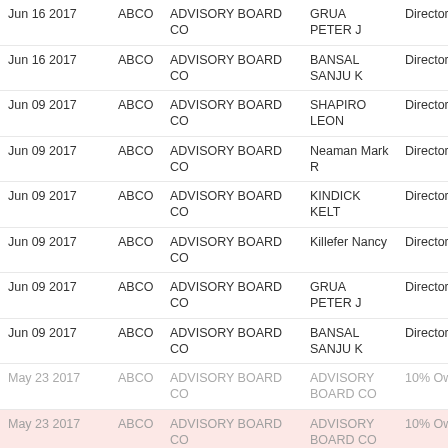| Date | Ticker | Company | Name | Role |
| --- | --- | --- | --- | --- |
| Jun 16 2017 | ABCO | ADVISORY BOARD CO | GRUA PETER J | Director |
| Jun 16 2017 | ABCO | ADVISORY BOARD CO | BANSAL SANJU K | Director |
| Jun 09 2017 | ABCO | ADVISORY BOARD CO | SHAPIRO LEON | Director |
| Jun 09 2017 | ABCO | ADVISORY BOARD CO | Neaman Mark R | Director |
| Jun 09 2017 | ABCO | ADVISORY BOARD CO | KINDICK KELT | Director |
| Jun 09 2017 | ABCO | ADVISORY BOARD CO | Killefer Nancy | Director |
| Jun 09 2017 | ABCO | ADVISORY BOARD CO | GRUA PETER J | Director |
| Jun 09 2017 | ABCO | ADVISORY BOARD CO | BANSAL SANJU K | Director |
| May 23 2017 | ABCO | ADVISORY BOARD CO | ADVISORY BOARD CO | 10% Owner |
| May 23 2017 | ABCO | ADVISORY BOARD CO | ADVISORY BOARD CO | 10% Owner |
| May 23 2017 | ABCO | ADVISORY BOARD CO | ADVISORY BOARD CO | 10% Owner |
| May 03 2017 | ABCO | ADVISORY BOARD CO | ADVISORY BOARD CO | 10% Owner |
| May 03 2017 | ABCO | ADVISORY BOARD CO | ADVISORY BOARD CO | 10% Owner |
| May 03 2017 | ABCO | ADVISORY BOARD CO | ADVISORY | 10% Owner |